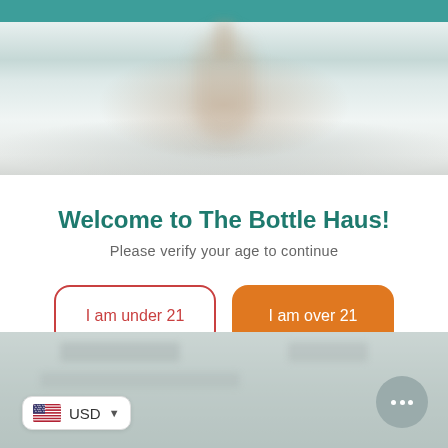[Figure (photo): Blurred hero banner image with teal top bar and blurred background showing indistinct shapes]
Welcome to The Bottle Haus!
Please verify your age to continue
I am under 21
I am over 21
[Figure (screenshot): Blurred footer area with USD currency selector badge showing US flag and chat bubble with ellipsis]